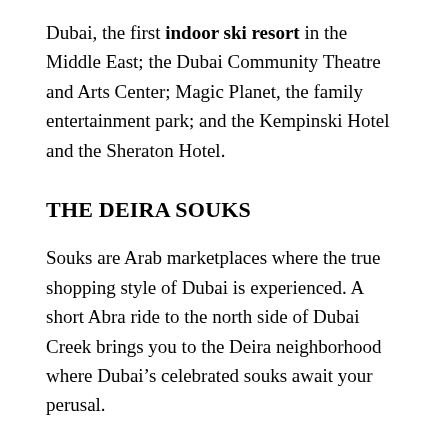Dubai, the first indoor ski resort in the Middle East; the Dubai Community Theatre and Arts Center; Magic Planet, the family entertainment park; and the Kempinski Hotel and the Sheraton Hotel.
THE DEIRA SOUKS
Souks are Arab marketplaces where the true shopping style of Dubai is experienced. A short Abra ride to the north side of Dubai Creek brings you to the Deira neighborhood where Dubai's celebrated souks await your perusal.
Gold Souk